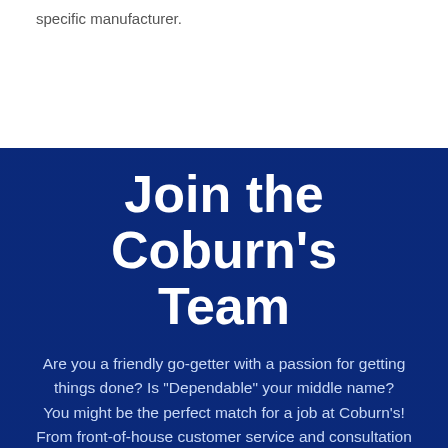specific manufacturer.
Join the Coburn's Team
Are you a friendly go-getter with a passion for getting things done? Is “Dependable” your middle name? You might be the perfect match for a job at Coburn’s! From front-of-house customer service and consultation to behind-the-scenes fulfillment and